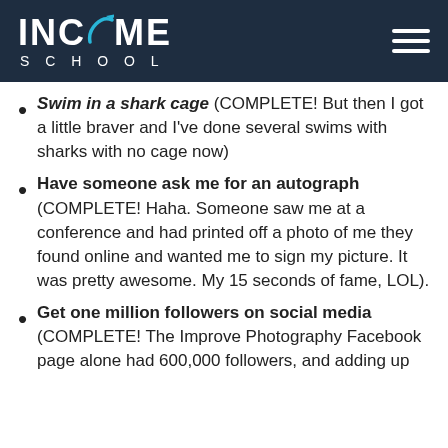INCOME SCHOOL
Swim in a shark cage (COMPLETE! But then I got a little braver and I've done several swims with sharks with no cage now)
Have someone ask me for an autograph (COMPLETE! Haha. Someone saw me at a conference and had printed off a photo of me they found online and wanted me to sign my picture. It was pretty awesome. My 15 seconds of fame, LOL).
Get one million followers on social media (COMPLETE! The Improve Photography Facebook page alone had 600,000 followers, and adding up